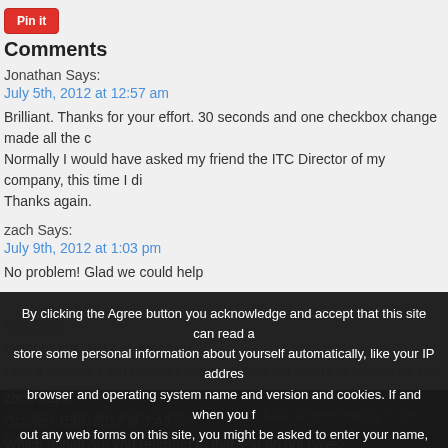[Figure (logo): Pinterest 'Pin it' button in red]
Comments
Jonathan Says:
July 5th, 2012 at 12:57 am
Brilliant. Thanks for your effort. 30 seconds and one checkbox change made all the difference. Normally I would have asked my friend the ITC Director of my company, this time I did it myself. Thanks again.
zach Says:
July 9th, 2012 at 1:03 pm
No problem! Glad we could help
Ana Says:
October 9th, 2012 at 3:30 am
I am a newbie. I am having trouble figuring out where to search for this option. I need to uncheck. I am not able to see this option. Also, where exactly is the option that says to uncheck? Please tell me which window.
zach Says:
October 15th, 2012 at 7:43 am
Which option are you referring to that you do not have?
Ishutzl Says:
By clicking the Agree button you acknowledge and accept that this site can read and store some personal information about yourself automatically, like your IP address, browser and operating system name and version and cookies. If and when you fill out any web forms on this site, you might be asked to enter your name, email, address and other personal data - depending on the subject of these forms. Please note that it is up to you to share this information with us or not. ISInc does not sell or share any data collected.
AGREE
CANCEL